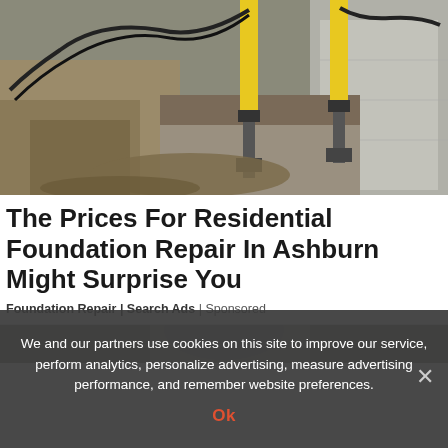[Figure (photo): Construction site showing foundation repair with yellow hydraulic jacks/piers attached to a concrete foundation wall, with excavated dirt visible]
The Prices For Residential Foundation Repair In Ashburn Might Surprise You
Foundation Repair | Search Ads | Sponsored
[Figure (photo): Partially visible photo below divider, obscured by cookie banner]
We and our partners use cookies on this site to improve our service, perform analytics, personalize advertising, measure advertising performance, and remember website preferences.
Ok